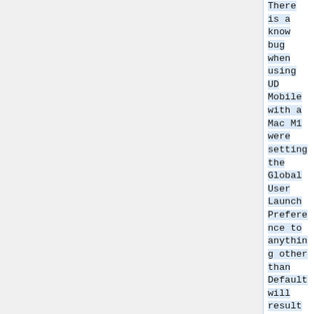There is a know bug when using UD Mobile with a Mac M1 were setting the Global User Launch Preference to anything other than Default will result in the app crashing. This includes imported backups. If you set the launch